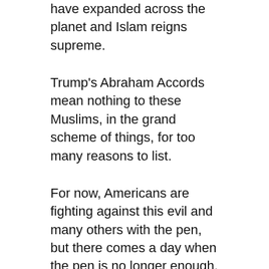have expanded across the planet and Islam reigns supreme.
Trump's Abraham Accords mean nothing to these Muslims, in the grand scheme of things, for too many reasons to list.
For now, Americans are fighting against this evil and many others with the pen, but there comes a day when the pen is no longer enough, after one sees one's country attacked and put upon for too long a time, by so many enemies aligned and allied with one another, both foreign and domestic. And, just as any normal red-blooded American would do in the face of an invasion, one fights with everything within them; one makes war no matter how far the enemy may come and how long